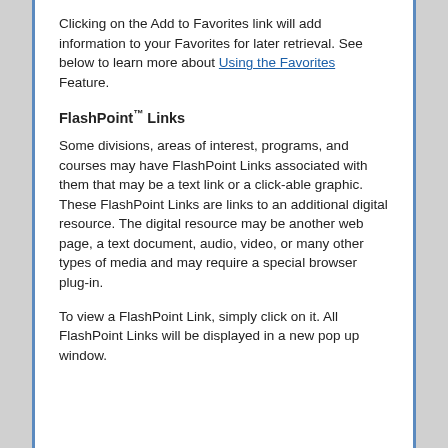Clicking on the Add to Favorites link will add information to your Favorites for later retrieval. See below to learn more about Using the Favorites Feature.
FlashPoint™ Links
Some divisions, areas of interest, programs, and courses may have FlashPoint Links associated with them that may be a text link or a click-able graphic. These FlashPoint Links are links to an additional digital resource. The digital resource may be another web page, a text document, audio, video, or many other types of media and may require a special browser plug-in.
To view a FlashPoint Link, simply click on it. All FlashPoint Links will be displayed in a new pop up window.